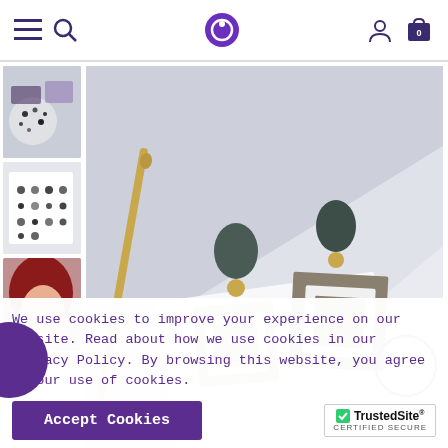Navigation bar with menu, search, logo, account, and cart icons
[Figure (photo): Thumbnail 1: flat lay of multiple earrings on white surfaces]
[Figure (photo): Thumbnail 2: earring card collection grid]
[Figure (photo): Thumbnail 3: woman with red hair wearing blue flower earring]
[Figure (photo): Main product image: geometric square drop earrings with dark stone tops and gold-tone frames on white card, with golden hair stick]
We use cookies to improve your experience on our website. Read about how we use cookies in our Privacy Policy. By browsing this website, you agree to our use of cookies.
Accept Cookies
[Figure (logo): TrustedSite CERTIFIED SECURE badge]